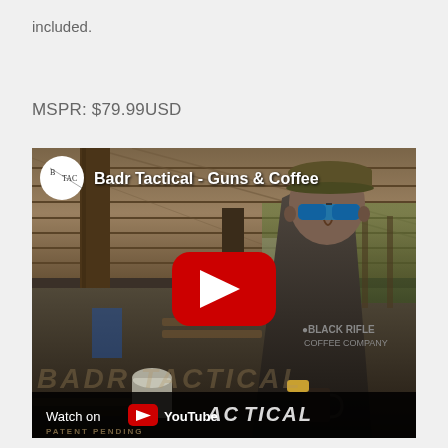included.
MSPR: $79.99USD
[Figure (screenshot): YouTube video thumbnail for 'Badr Tactical - Guns & Coffee' channel showing a man in a Black Rifle Coffee Company shirt at an outdoor shooting range under a wooden roof structure, with a red YouTube play button in the center and a 'Watch on YouTube' bar at the bottom. Watermark text 'BADR TACTICAL' visible. 'PATENT PENDING' text at bottom.]